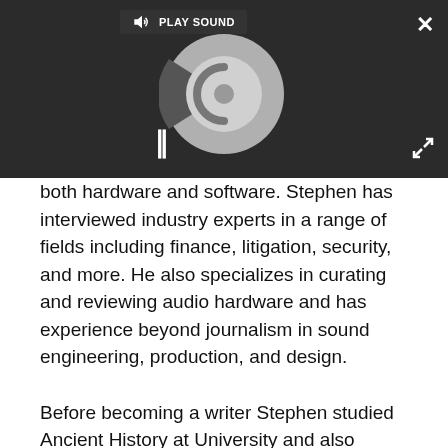[Figure (screenshot): A dark media player overlay showing a spinning disc/loading animation, a PLAY SOUND button with speaker icon, a pause (II) button, a close (X) button in top-right, and an expand button in bottom-right.]
both hardware and software. Stephen has interviewed industry experts in a range of fields including finance, litigation, security, and more. He also specializes in curating and reviewing audio hardware and has experience beyond journalism in sound engineering, production, and design.
Before becoming a writer Stephen studied Ancient History at University and also worked at Apple for more than two years. Stephen is also a